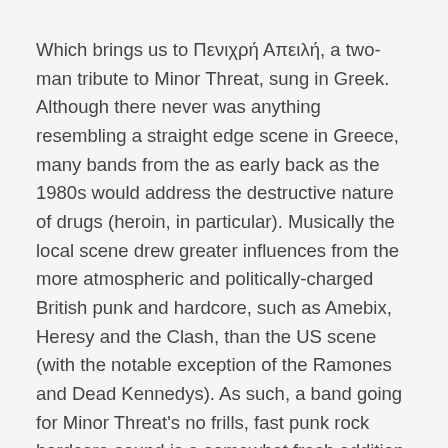Which brings us to Πενιχρή Απειλή, a two-man tribute to Minor Threat, sung in Greek. Although there never was anything resembling a straight edge scene in Greece, many bands from the as early back as the 1980s would address the destructive nature of drugs (heroin, in particular). Musically the local scene drew greater influences from the more atmospheric and politically-charged British punk and hardcore, such as Amebix, Heresy and the Clash, than the US scene (with the notable exception of the Ramones and Dead Kennedys). As such, a band going for Minor Threat's no frills, fast punk rock hardcore sound is a somewhat fresh addition to the contemporary Greek scene.
The band has opted to cover most of Minor Threat's material, meticulously imitating the guitar tone and production values of the originals. The English lyrics are translated almost word-for-word in Greek and are performed with a similar youthful and passionate